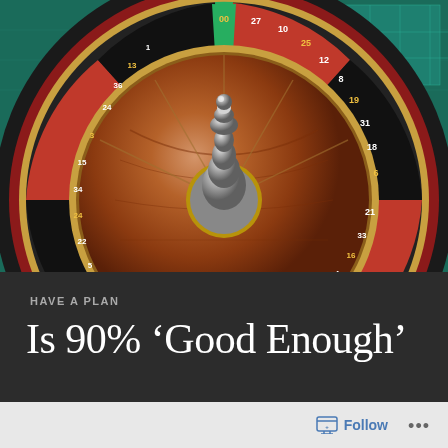[Figure (photo): Close-up photograph of a casino roulette wheel with red and black numbered slots, a chrome center spindle, and a green felt gaming table visible in the background. Numbers visible include 00, 27, 10, 25, 12, 8, 19, 31, 18, 6, 21, 33, 16, 4, 23, 35, 14, 2, 5, 7, 22, 34, 15, 3, 24, 36, 13, 1 among others.]
HAVE A PLAN
Is 90% ‘Good Enough’
Follow
•••